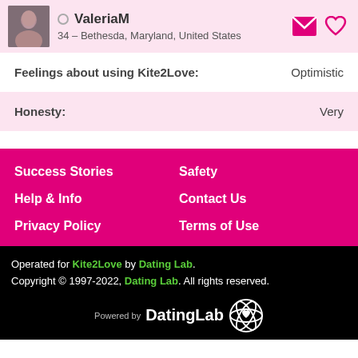ValeriaM — 34 – Bethesda, Maryland, United States
Feelings about using Kite2Love: Optimistic
Honesty: Very
Success Stories
Safety
Help & Info
Contact Us
Privacy Policy
Terms of Use
Operated for Kite2Love by Dating Lab. Copyright © 1997-2022, Dating Lab. All rights reserved. Powered by DatingLab